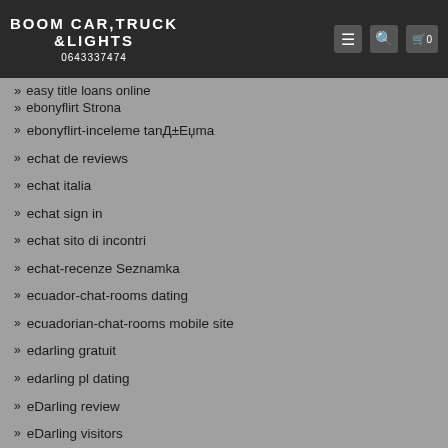BOOM CAR,TRUCK &LIGHTS | 0643337474
easy title loans online
ebonyflirt Strona
ebonyflirt-inceleme tanД±Еџma
echat de reviews
echat italia
echat sign in
echat sito di incontri
echat-recenze Seznamka
ecuador-chat-rooms dating
ecuadorian-chat-rooms mobile site
edarling gratuit
edarling pl dating
eDarling review
eDarling visitors